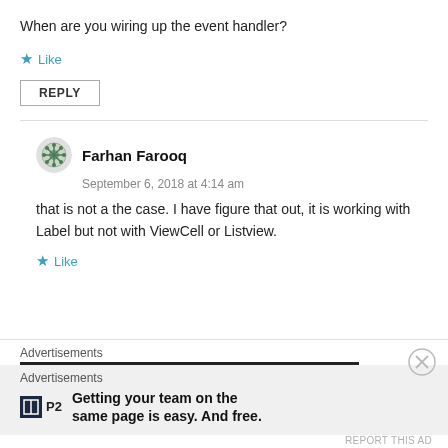When are you wiring up the event handler?
★ Like
REPLY
Farhan Farooq
September 6, 2018 at 4:14 am
that is not a the case. I have figure that out, it is working with Label but not with ViewCell or Listview.
★ Like
Advertisements
Advertisements
Getting your team on the same page is easy. And free.